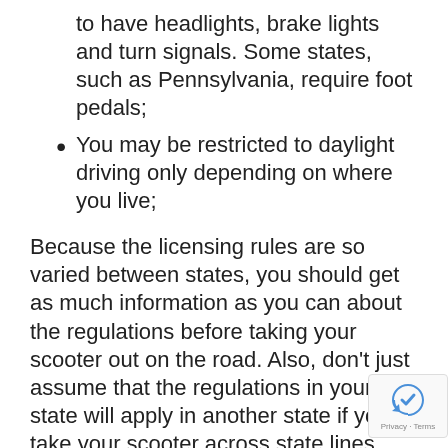to have headlights, brake lights and turn signals. Some states, such as Pennsylvania, require foot pedals;
You may be restricted to daylight driving only depending on where you live;
Because the licensing rules are so varied between states, you should get as much information as you can about the regulations before taking your scooter out on the road. Also, don't just assume that the regulations in your state will apply in another state if you take your scooter across state lines.
Once you have the required licensing, strap on your helmet, pull on your ankle-length boots, hit the open road. Never become discouraged over some of the licensing rules in your area.